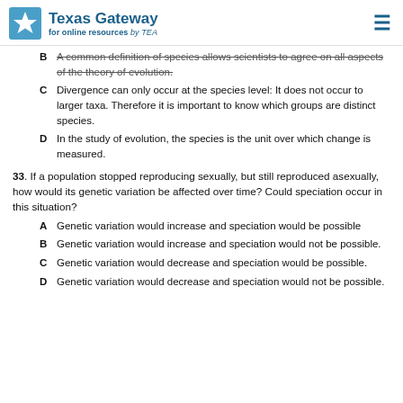Texas Gateway for online resources by TEA
B  A common definition of species allows scientists to agree on all aspects of the theory of evolution.
C  Divergence can only occur at the species level: It does not occur to larger taxa. Therefore it is important to know which groups are distinct species.
D  In the study of evolution, the species is the unit over which change is measured.
33. If a population stopped reproducing sexually, but still reproduced asexually, how would its genetic variation be affected over time? Could speciation occur in this situation?
A  Genetic variation would increase and speciation would be possible
B  Genetic variation would increase and speciation would not be possible.
C  Genetic variation would decrease and speciation would be possible.
D  Genetic variation would decrease and speciation would not be possible.